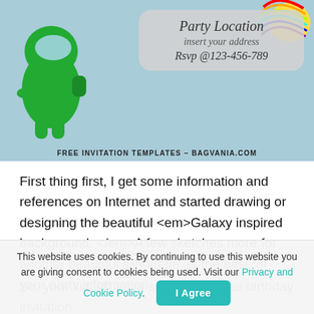[Figure (illustration): Party invitation image with a blue/teal galaxy background. A green Among Us character stands on the left side. A colorful rainbow character appears in the top right. A rounded gray card in the upper right area displays party location text. At the bottom of the image: 'FREE INVITATION TEMPLATES – BAGVANIA.COM']
First thing first, I get some information and references on Internet and started drawing or designing the beautiful <em>Galaxy inspired background. </em>A few sketches more for another beautiful silhouette as the base of your party information.
So, your kid will have super awesome birthday invitation
This website uses cookies. By continuing to use this website you are giving consent to cookies being used. Visit our Privacy and Cookie Policy.
I Agree